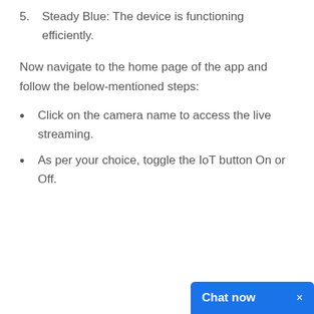5. Steady Blue: The device is functioning efficiently.
Now navigate to the home page of the app and follow the below-mentioned steps:
Click on the camera name to access the live streaming.
As per your choice, toggle the IoT button On or Off.